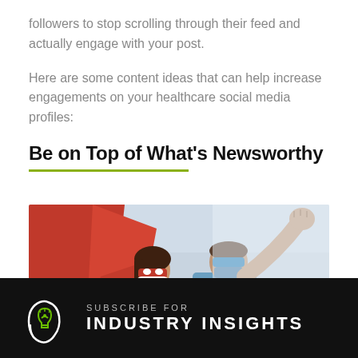followers to stop scrolling through their feed and actually engage with your post.
Here are some content ideas that can help increase engagements on your healthcare social media profiles:
Be on Top of What's Newsworthy
[Figure (photo): Two healthcare workers dressed as superheroes: a woman wearing a red cape and red mask over a white lab coat with stethoscope, and a man in blue scrubs and blue mask with fist raised in the air, suggesting heroism]
SUBSCRIBE FOR INDUSTRY INSIGHTS